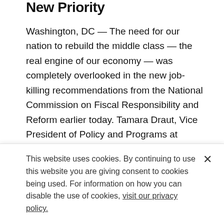New Priority
Washington, DC — The need for our nation to rebuild the middle class — the real engine of our economy — was completely overlooked in the new job-killing recommendations from the National Commission on Fiscal Responsibility and Reform earlier today. Tamara Draut, Vice President of Policy and Programs at Demos responded with the following statement.
PRESS RELEASE   DECEMBER 3, 2010
This website uses cookies. By continuing to use this website you are giving consent to cookies being used. For information on how you can disable the use of cookies, visit our privacy policy.